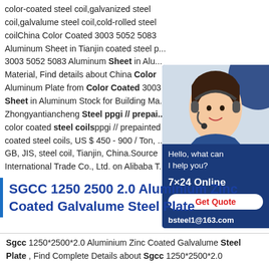color-coated steel coil,galvanized steel coil,galvalume steel coil,cold-rolled steel coilChina Color Coated 3003 5052 5083 Aluminum Sheet in Tianjin coated steel p... 3003 5052 5083 Aluminum Sheet in Alu... Material, Find details about China Color Aluminum Plate from Color Coated 3003 Sheet in Aluminum Stock for Building Ma... Zhongyantiancheng Steel ppgi // prepai... color coated steel coilsppgi // prepainted coated steel coils, US $ 450 - 900 / Ton, ... GB, JIS, steel coil, Tianjin, China.Source International Trade Co., Ltd. on Alibaba T...
[Figure (photo): Chat widget with photo of a woman with headset on a blue background. Shows 'Hello, what can I help you?', '7x24 Online', 'Get Quote' button, and 'bsteel1@163.com']
SGCC 1250 2500 2.0 Aluminium Zinc Coated Galvalume Steel Plate
Sgcc 1250*2500*2.0 Aluminium Zinc Coated Galvalume Steel Plate , Find Complete Details about Sgcc 1250*2500*2.0